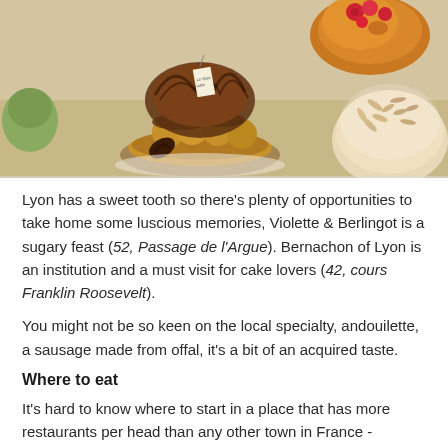[Figure (photo): Photograph of assorted French pastries and cakes displayed in a patisserie, including chocolate confections, cream puffs, a fruit tart, and a meringue or nut-topped cake.]
Lyon has a sweet tooth so there's plenty of opportunities to take home some luscious memories, Violette & Berlingot is a sugary feast (52, Passage de l'Argue). Bernachon of Lyon is an institution and a must visit for cake lovers (42, cours Franklin Roosevelt).
You might not be so keen on the local specialty, andouilette, a sausage made from offal, it's a bit of an acquired taste.
Where to eat
It's hard to know where to start in a place that has more restaurants per head than any other town in France - including 14 Michelin star restaurants. Eating out is a passion and hobby for the Lyonnais and there's a huge choice. Head to the old town to experience Bouchons, traditional Lyon eateries where you're likely to hear a chef sing and the details reflect restaurants of old and are seriously